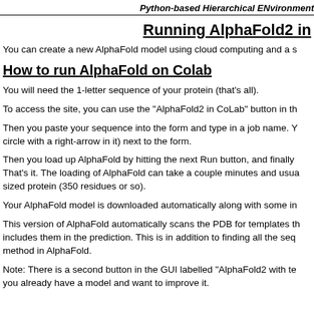Python-based Hierarchical ENvironment
Running AlphaFold2 in
You can create a new AlphaFold model using cloud computing and a s
How to run AlphaFold on Colab
You will need the 1-letter sequence of your protein (that's all).
To access the site, you can use the "AlphaFold2 in CoLab" button in th
Then you paste your sequence into the form and type in a job name. Y circle with a right-arrow in it) next to the form.
Then you load up AlphaFold by hitting the next Run button, and finally That's it. The loading of AlphaFold can take a couple minutes and usua sized protein (350 residues or so).
Your AlphaFold model is downloaded automatically along with some in
This version of AlphaFold automatically scans the PDB for templates th includes them in the prediction. This is in addition to finding all the seq method in AlphaFold.
Note: There is a second button in the GUI labelled "AlphaFold2 with te you already have a model and want to improve it.